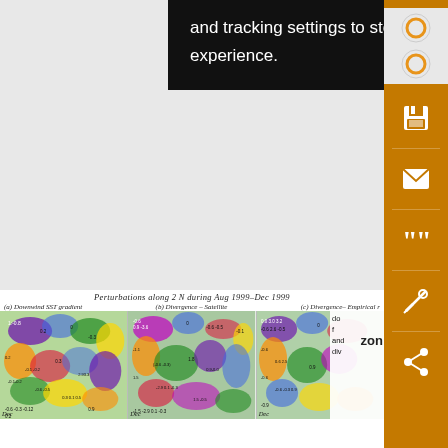and tracking settings to store information that help give you the very best browsing experience.
[Figure (other): Orange sidebar with icons: save (floppy disk), email (envelope), quote marks, bell/notification, share icons on orange background]
Perturbations along 2 N during Aug 1999–Dec 1999
(a) Downwind SST gradient   (b) Divergence – Satellite   (c) Divergence– Empirical r...
[Figure (continuous-plot): Three-panel contour/hovmoller plots showing perturbations along 2N during Aug 1999-Dec 1999: (a) Downwind SST gradient, (b) Divergence - Satellite, (c) Divergence - Empirical. Each panel shows colorful filled contour patterns (purple, blue, green, yellow, orange, red) with contour labels. Dec label visible at bottom left of each panel.]